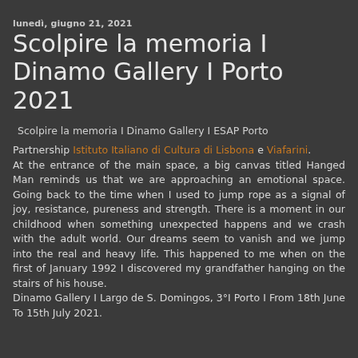lunedì, giugno 21, 2021
Scolpire la memoria I Dinamo Gallery I Porto 2021
Scolpire la memoria I Dinamo Gallery I ESAP Porto
Partnership Istituto Italiano di Cultura di Lisbona e Viafarini.
At the entrance of the main space, a big canvas titled Hanged Man reminds us that we are approaching an emotional space. Going back to the time when I used to jump rope as a signal of joy, resistance, pureness and strength. There is a moment in our childhood when something unexpected happens and we crash with the adult world. Our dreams seem to vanish and we jump into the real and heavy life. This happened to me when on the first of January 1992 I discovered my grandfather hanging on the stairs of his house.
Dinamo Gallery I Largo de S. Domingos, 3°I Porto I From 18th June To 15th July 2021.